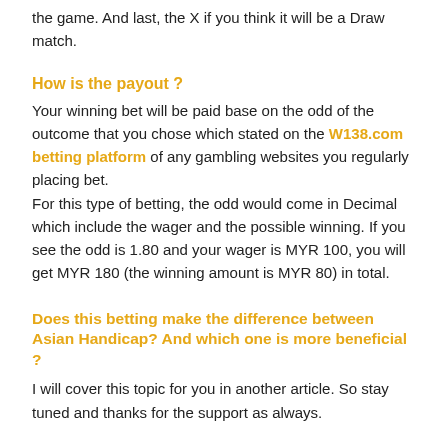the game. And last, the X if you think it will be a Draw match.
How is the payout ?
Your winning bet will be paid base on the odd of the outcome that you chose which stated on the W138.com betting platform of any gambling websites you regularly placing bet.
For this type of betting, the odd would come in Decimal which include the wager and the possible winning. If you see the odd is 1.80 and your wager is MYR 100, you will get MYR 180 (the winning amount is MYR 80) in total.
Does this betting make the difference between Asian Handicap? And which one is more beneficial ?
I will cover this topic for you in another article. So stay tuned and thanks for the support as always.
PS: leave me a comment if you want W138.info to cover any other topic related to Malaysia football betting.